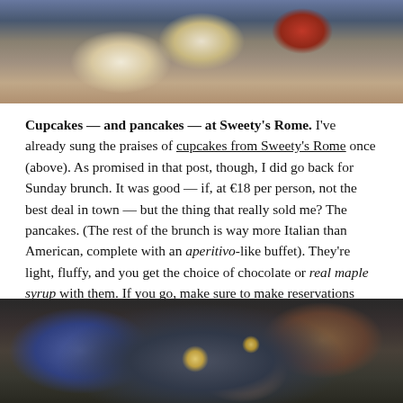[Figure (photo): Close-up photo of cupcakes from Sweety's Rome, showing cream frosting and red crumbled topping on a dark background]
Cupcakes — and pancakes — at Sweety's Rome. I've already sung the praises of cupcakes from Sweety's Rome once (above). As promised in that post, though, I did go back for Sunday brunch. It was good — if, at €18 per person, not the best deal in town — but the thing that really sold me? The pancakes. (The rest of the brunch is way more Italian than American, complete with an aperitivo-like buffet). They're light, fluffy, and you get the choice of chocolate or real maple syrup with them. If you go, make sure to make reservations ahead of time; there are only two seatings, at 12:30 and at 2pm. Call 06 48913713. Via Milano 48, in Monti.
[Figure (photo): Interior photo of a restaurant or bar in Monti, Rome, showing industrial-style ceiling with pipes and warm lighting]